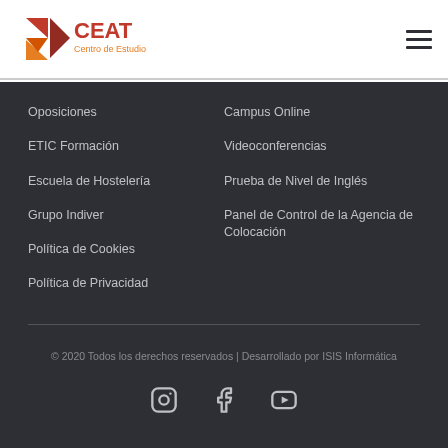[Figure (logo): CEAT Centro de Estudios logo with red/orange geometric shapes and red text]
Oposiciones
ETIC Formación
Escuela de Hostelería
Grupo Indiver
Política de Cookies
Política de Privacidad
Campus Online
Videoconferencias
Prueba de Nivel de Inglés
Panel de Control de la Agencia de Colocación
© 2020 Todos los derechos reservados | Desarrollado por ISIS Informática